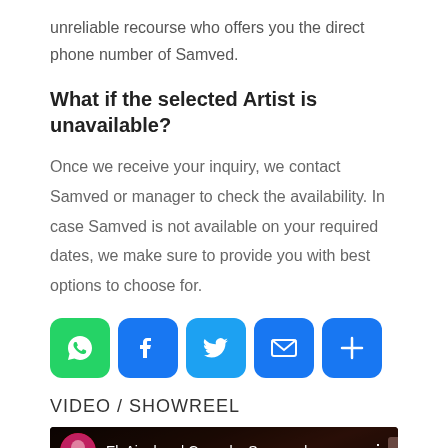unreliable recourse who offers you the direct phone number of Samved.
What if the selected Artist is unavailable?
Once we receive your inquiry, we contact Samved or manager to check the availability. In case Samved is not available on your required dates, we make sure to provide you with best options to choose for.
[Figure (other): Row of social share icons: WhatsApp (green), Facebook (blue), Twitter (blue), Email (blue), More/Plus (blue)]
VIDEO / SHOWREEL
[Figure (screenshot): YouTube video thumbnail showing 'Ek Ajnabee | Cover by Samaved...' with a man wearing sunglasses in a dark reddish background]